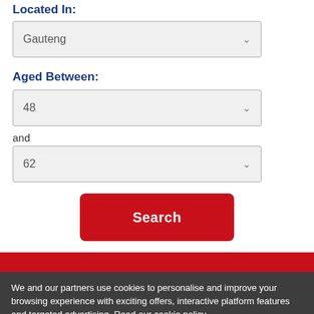Located In:
Gauteng
Aged Between:
48
and
62
Search
[Figure (other): Loading spinner icon]
We and our partners use cookies to personalise and improve your browsing experience with exciting offers, interactive platform features and targeted advertising. Read our cookie policy.
If you do not agree then please withdraw from using this site.
Yes, I agree